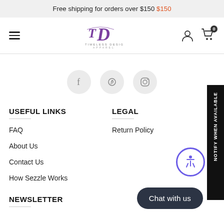Free shipping for orders over $150 $150
[Figure (logo): Timeless Designs Apparel logo with stylized TD monogram]
[Figure (illustration): Social media icons: Facebook, Pinterest, Instagram in grey circles]
USEFUL LINKS
LEGAL
FAQ
Return Policy
About Us
Contact Us
How Sezzle Works
NEWSLETTER